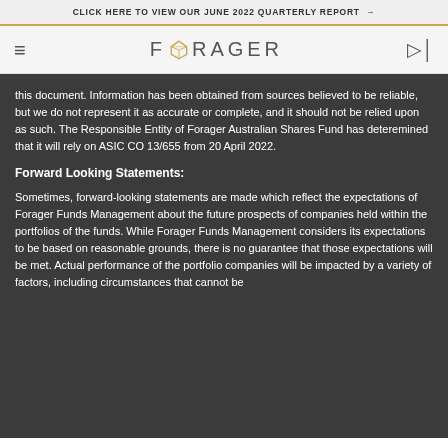CLICK HERE TO VIEW OUR JUNE 2022 QUARTERLY REPORT →
[Figure (logo): Forager Funds Management logo with geometric gem icon and hamburger menu and exit icon]
this document. Information has been obtained from sources believed to be reliable, but we do not represent it as accurate or complete, and it should not be relied upon as such. The Responsible Entity of Forager Australian Shares Fund has deteremined that it will rely on ASIC CO 13/655 from 20 April 2022.
Forward Looking Statements:
Sometimes, forward-looking statements are made which reflect the expectations of Forager Funds Management about the future prospects of companies held within the portfolios of the funds. While Forager Funds Management considers its expectations to be based on reasonable grounds, there is no guarantee that those expectations will be met. Actual performance of the portfolio companies will be impacted by a variety of factors, including circumstances that cannot be